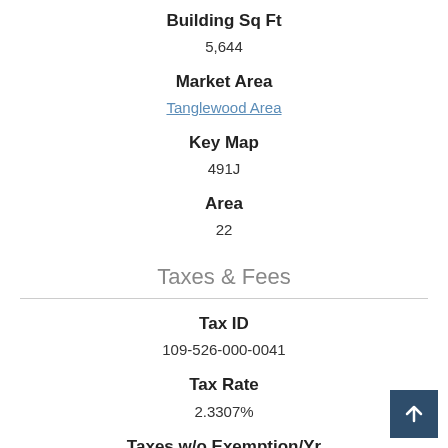Building Sq Ft
5,644
Market Area
Tanglewood Area
Key Map
491J
Area
22
Taxes & Fees
Tax ID
109-526-000-0041
Tax Rate
2.3307%
Taxes w/o Exemption/Yr